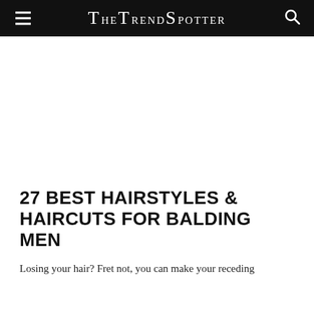TheTrendSpotter
27 BEST HAIRSTYLES & HAIRCUTS FOR BALDING MEN
Losing your hair? Fret not, you can make your receding